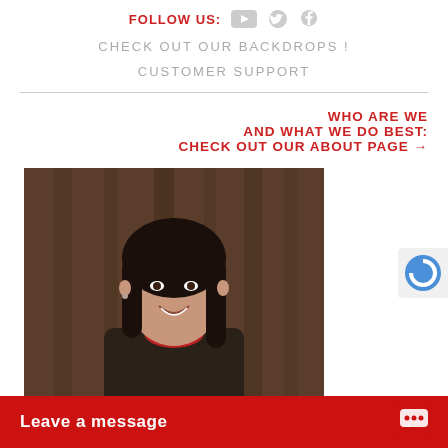FOLLOW US:
CHECK OUT OUR BACKDROPS !
CUSTOMER SUPPORT
WHO ARE WE AND WHAT WE DO BEST: CHECK OUT OUR ABOUT PAGE →
[Figure (photo): Professional headshot of a smiling woman with dark hair wearing a dark blazer and red top, arms crossed, against a wooden backdrop background.]
Leave a message